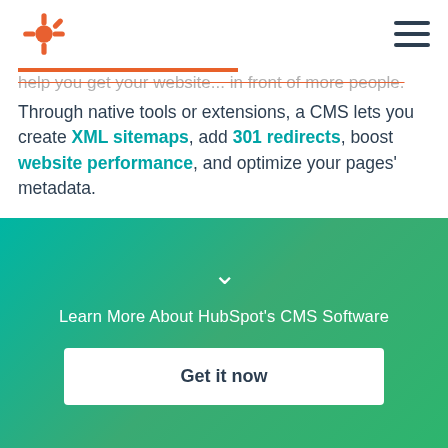[Figure (logo): HubSpot logo in orange/coral color]
help you get your website... in front of more people. Through native tools or extensions, a CMS lets you create XML sitemaps, add 301 redirects, boost website performance, and optimize your pages' metadata.
Blogging Tools
Built-in blogging tools, including page templates and
Learn More About HubSpot's CMS Software
Get it now